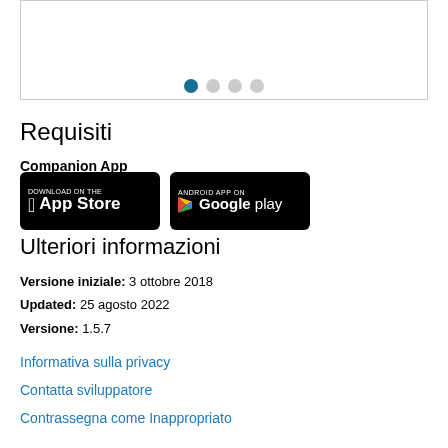[Figure (photo): Product image showing a device/chair with image carousel dots below it]
Requisiti
Companion App
[Figure (other): App store badges: Download on the App Store and Android App on Google Play]
Ulteriori informazioni
Versione iniziale: 3 ottobre 2018
Updated: 25 agosto 2022
Versione: 1.5.7
Informativa sulla privacy
Contatta sviluppatore
Contrassegna come Inappropriato